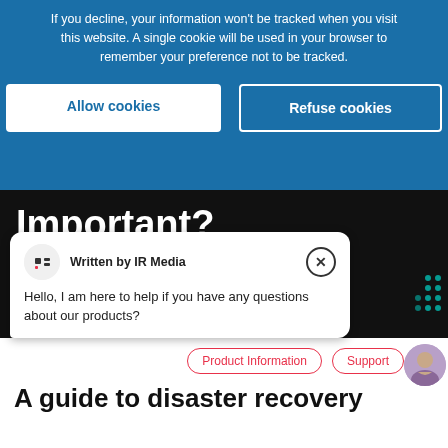If you decline, your information won't be tracked when you visit this website. A single cookie will be used in your browser to remember your preference not to be tracked.
Allow cookies
Refuse cookies
Important?
Written by IR Media
Hello, I am here to help if you have any questions about our products?
Product Information
Support
A guide to disaster recovery